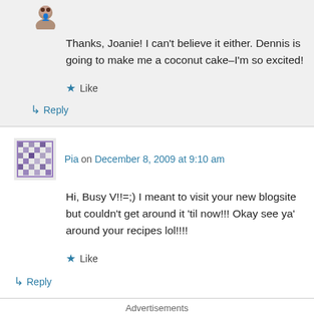Thanks, Joanie! I can't believe it either. Dennis is going to make me a coconut cake–I'm so excited!
★ Like
↳ Reply
Pia on December 8, 2009 at 9:10 am
Hi, Busy V!!=;) I meant to visit your new blogsite but couldn't get around it 'til now!!! Okay see ya' around your recipes lol!!!!
★ Like
↳ Reply
Advertisements